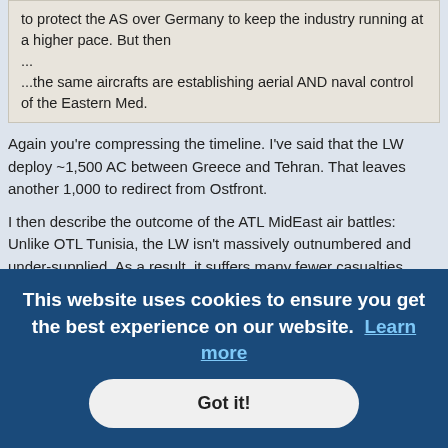to protect the AS over Germany to keep the industry running at a higher pace. But then
...
...the same aircrafts are establishing aerial AND naval control of the Eastern Med.
Again you're compressing the timeline. I've said that the LW deploy ~1,500 AC between Greece and Tehran. That leaves another 1,000 to redirect from Ostfront.
I then describe the outcome of the ATL MidEast air battles: Unlike OTL Tunisia, the LW isn't massively outnumbered and under-supplied. As a result, it suffers many fewer casualties.
ONLY THEN - in mid-'43 or so - does my narrative pivot back to the air war over Germany. Having lost fewer planes in the ME/Africa, and having
This website uses cookies to ensure you get the best experience on our website. Learn more
Got it!
Sorry but this is complete BS! I have gone to great lengths to analyze and quantify what kind of response the W Allies could have mounted in the